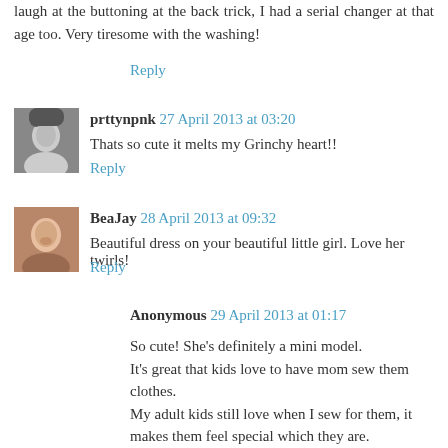laugh at the buttoning at the back trick, I had a serial changer at that age too. Very tiresome with the washing!
Reply
[Figure (photo): Small avatar photo of prttynpnk, black and white portrait]
prttynpnk 27 April 2013 at 03:20
Thats so cute it melts my Grinchy heart!!
Reply
[Figure (photo): Small avatar photo of BeaJay, color portrait]
BeaJay 28 April 2013 at 09:32
Beautiful dress on your beautiful little girl. Love her twirls!
Reply
Anonymous 29 April 2013 at 01:17
So cute! She's definitely a mini model.
It's great that kids love to have mom sew them clothes.
My adult kids still love when I sew for them, it makes them feel special which they are.